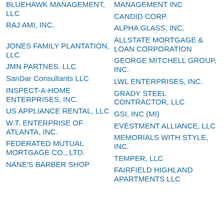BLUEHAWK MANAGEMENT, LLC
RAJ AMI, INC.
JONES FAMILY PLANTATION, LLC
JMN PARTNES. LLC
SanDar Consultants LLC
INSPECT-A-HOME ENTERPRISES, INC.
US APPLIANCE RENTAL, LLC
W.T. ENTERPRISE OF ATLANTA, INC.
FEDERATED MUTUAL MORTGAGE CO., LTD.
NANE'S BARBER SHOP
MANAGEMENT INC
CANDID CORP.
ALPHA GLASS, INC.
ALLSTATE MORTGAGE & LOAN CORPORATION
GEORGE MITCHELL GROUP, INC.
LWL ENTERPRISES, INC.
GRADY STEEL CONTRACTOR, LLC
GSI, INC (MI)
EVESTMENT ALLIANCE, LLC
MEMORIALS WITH STYLE, INC.
TEMPER, LLC
FAIRFIELD HIGHLAND APARTMENTS LLC